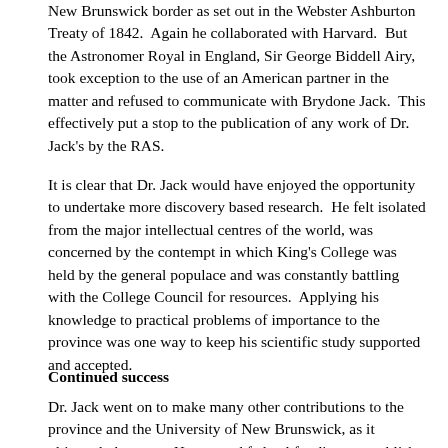New Brunswick border as set out in the Webster Ashburton Treaty of 1842. Again he collaborated with Harvard. But the Astronomer Royal in England, Sir George Biddell Airy, took exception to the use of an American partner in the matter and refused to communicate with Brydone Jack. This effectively put a stop to the publication of any work of Dr. Jack's by the RAS.
It is clear that Dr. Jack would have enjoyed the opportunity to undertake more discovery based research. He felt isolated from the major intellectual centres of the world, was concerned by the contempt in which King's College was held by the general populace and was constantly battling with the College Council for resources. Applying his knowledge to practical problems of importance to the province was one way to keep his scientific study supported and accepted.
Continued success
Dr. Jack went on to make many other contributions to the province and the University of New Brunswick, as it ultimately became. He secured federal funding to establish a